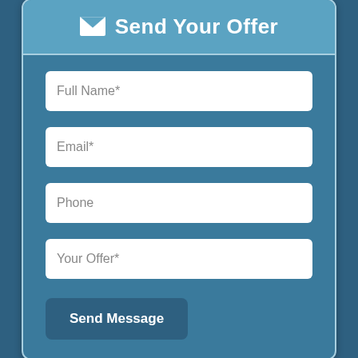Send Your Offer
Full Name*
Email*
Phone
Your Offer*
Send Message